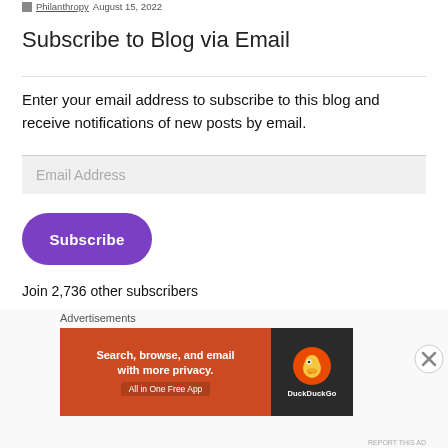Philanthropy August 15, 2022
Subscribe to Blog via Email
Enter your email address to subscribe to this blog and receive notifications of new posts by email.
Email Address
Subscribe
Join 2,736 other subscribers
Advertisements
[Figure (other): DuckDuckGo advertisement banner: orange left panel with text 'Search, browse, and email with more privacy. All in One Free App', dark right panel with DuckDuckGo duck logo]
REPORT THIS AD